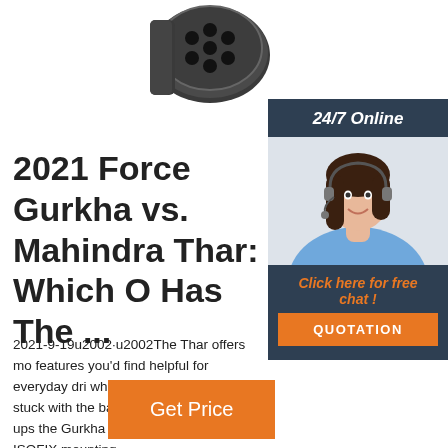[Figure (photo): Close-up photo of a circular industrial connector/plug with multiple holes, dark metal, viewed from the front at an angle]
2021 Force Gurkha vs. Mahindra Thar: Which O Has The ...
2021-9-19u2002·u2002The Thar offers mo features you'd find helpful for everyday dri whereas the Gurkha has stuck with the ba The former also one-ups the Gurkha in sa offering ESP, ISOFIX mounting ...
[Figure (infographic): Sidebar widget with dark blue/navy background showing 24/7 Online text, a photo of a smiling female customer service agent with headset, orange 'Click here for free chat!' text, and an orange QUOTATION button]
Get Price